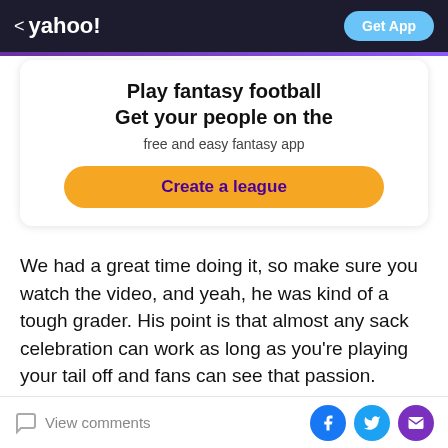< yahoo! | Get App
[Figure (infographic): Yahoo Fantasy Football promotional card with title 'Play fantasy football Get your people on the', subtitle 'free and easy fantasy app', and a 'Create a league' button]
We had a great time doing it, so make sure you watch the video, and yeah, he was kind of a tough grader. His point is that almost any sack celebration can work as long as you're playing your tail off and fans can see that passion. That's what matters most.
“I firmly believe that if people are going to spend their
View comments | [Facebook] [Twitter] [Email]